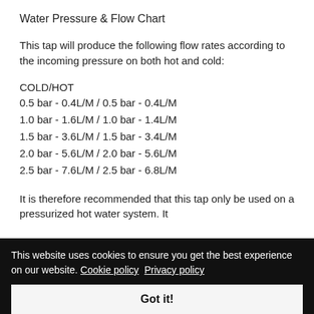Water Pressure & Flow Chart
This tap will produce the following flow rates according to the incoming pressure on both hot and cold:
COLD/HOT
0.5 bar - 0.4L/M / 0.5 bar - 0.4L/M
1.0 bar - 1.6L/M / 1.0 bar - 1.4L/M
1.5 bar - 3.6L/M / 1.5 bar - 3.4L/M
2.0 bar - 5.6L/M / 2.0 bar - 5.6L/M
2.5 bar - 7.6L/M / 2.5 bar - 6.8L/M
It is therefore recommended that this tap only be used on a pressurized hot water system. It
This website uses cookies to ensure you get the best experience on our website. Cookie policy  Privacy policy
Got it!